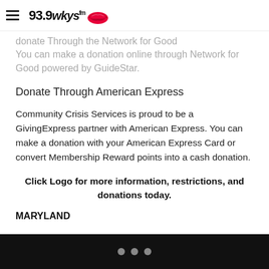93.9 WKYS FM logo header
donate Through the Network for Good
You can make a donation online through Network for Good powered by GuideStar.
Donate Through American Express
Community Crisis Services is proud to be a GivingExpress partner with American Express. You can make a donation with your American Express Card or convert Membership Reward points into a cash donation.
Click Logo for more information, restrictions, and donations today.
MARYLAND
• • •